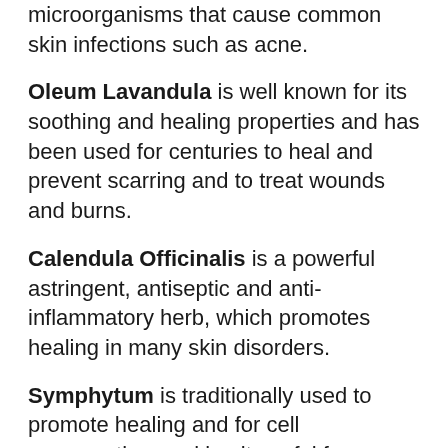microorganisms that cause common skin infections such as acne.
Oleum Lavandula is well known for its soothing and healing properties and has been used for centuries to heal and prevent scarring and to treat wounds and burns.
Calendula Officinalis is a powerful astringent, antiseptic and anti-inflammatory herb, which promotes healing in many skin disorders.
Symphytum is traditionally used to promote healing and for cell regeneration, making it useful for treating scars and skin disorders. This is well known as a treatment for rash acne buttocks.